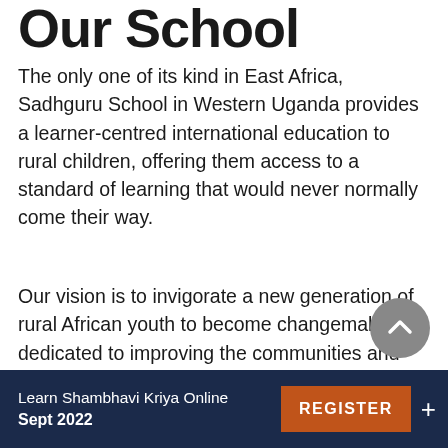Our School
The only one of its kind in East Africa, Sadhguru School in Western Uganda provides a learner-centred international education to rural children, offering them access to a standard of learning that would never normally come their way.
Our vision is to invigorate a new generation of rural African youth to become changemakers, dedicated to improving the communities and world they inhabit. Students are nurtured to become exuberant, fully rounded individuals who are in harmony with themselves and the world. The curriculum is designed to ignite a child's natural curiosity to learn and explore, in
Learn Shambhavi Kriya Online Sept 2022  REGISTER